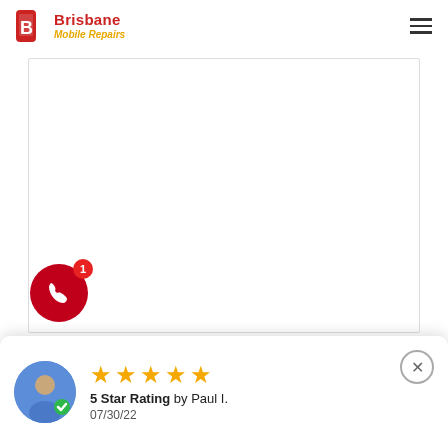[Figure (logo): Brisbane Mobile Repairs logo with red phone/device icon and text]
[Figure (screenshot): White content area with border representing a webpage content block]
[Figure (illustration): Red circular phone call button with badge showing 1]
Apple recently released iOS 15.0.1, but no longer
[Figure (illustration): Review card showing 5 star rating by Paul I. on 07/30/22 with avatar and close button]